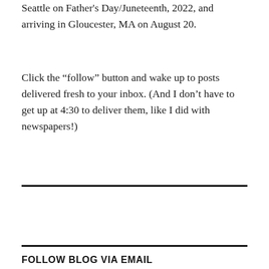Seattle on Father's Day/Juneteenth, 2022, and arriving in Gloucester, MA on August 20.
Click the “follow” button and wake up to posts delivered fresh to your inbox. (And I don’t have to get up at 4:30 to deliver them, like I did with newspapers!)
[Figure (other): Horizontal black rule divider line]
[Figure (other): WordPress Follow button: Follow Half-fast Cycling Club]
[Figure (other): Horizontal black rule divider line]
FOLLOW BLOG VIA EMAIL